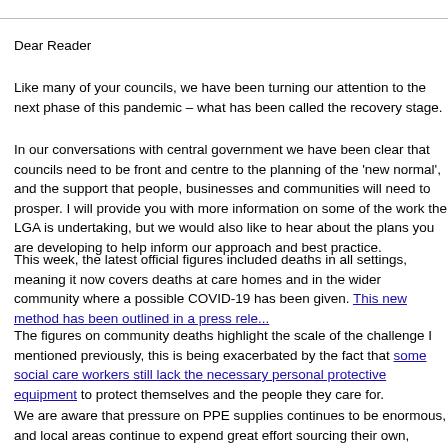Dear Reader
Like many of your councils, we have been turning our attention to the next phase of this pandemic – what has been called the recovery stage.
In our conversations with central government we have been clear that councils need to be front and centre to the planning of the 'new normal', and the support that people, businesses and communities will need to prosper. I will provide you with more information on some of the work the LGA is undertaking, but we would also like to hear about the plans you are developing to help inform our approach and best practice.
This week, the latest official figures included deaths in all settings, meaning it now covers deaths at care homes and in the wider community where a possible COVID-19 has been given. This new method has been outlined in a press release.
The figures on community deaths highlight the scale of the challenge I mentioned previously, this is being exacerbated by the fact that some social care workers still lack the necessary personal protective equipment to protect themselves and the people they care for.
We are aware that pressure on PPE supplies continues to be enormous, and local areas continue to expend great effort sourcing their own, pending the establishment of a reliable and sustainable national route.